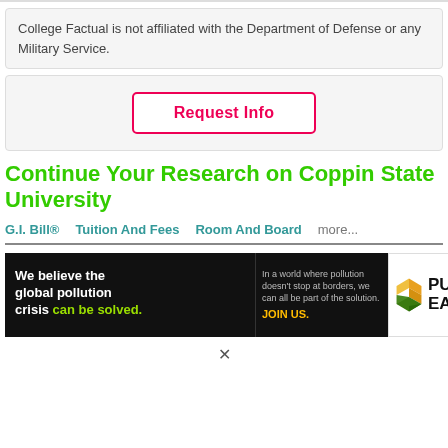College Factual is not affiliated with the Department of Defense or any Military Service.
Request Info
Continue Your Research on Coppin State University
G.I. Bill®
Tuition And Fees
Room And Board
more...
[Figure (infographic): Pure Earth advertisement banner: black background with text 'We believe the global pollution crisis can be solved.' and 'In a world where pollution doesn't stop at borders, we can all be part of the solution. JOIN US.' with Pure Earth logo (diamond/chevron shapes in orange and green) on white background.]